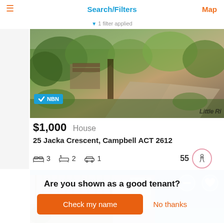Search/Filters  1 filter applied  Map
[Figure (photo): Garden and driveway of a house with greenery, NBN badge overlay, and Little Ri watermark]
$1,000  House
25 Jacka Crescent, Campbell ACT 2612
3 bedrooms  2 bathrooms  1 car  55 walk score
[Figure (photo): Modern apartment building exterior at dusk with blue sky, with dismiss and favourite icons]
Are you shown as a good tenant?
Check my name
No thanks